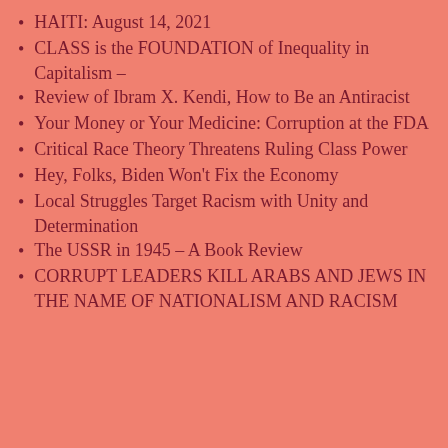HAITI: August 14, 2021
CLASS is the FOUNDATION of Inequality in Capitalism –
Review of Ibram X. Kendi, How to Be an Antiracist
Your Money or Your Medicine: Corruption at the FDA
Critical Race Theory Threatens Ruling Class Power
Hey, Folks, Biden Won't Fix the Economy
Local Struggles Target Racism with Unity and Determination
The USSR in 1945 – A Book Review
CORRUPT LEADERS KILL ARABS AND JEWS IN THE NAME OF NATIONALISM AND RACISM